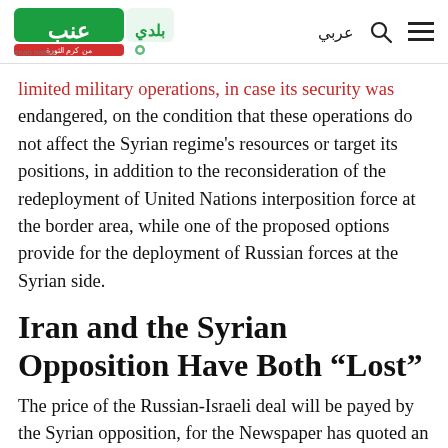Enab Baladi (logo) | عربي
limited military operations, in case its security was endangered, on the condition that these operations do not affect the Syrian regime's resources or target its positions, in addition to the reconsideration of the redeployment of United Nations interposition force at the border area, while one of the proposed options provide for the deployment of Russian forces at the Syrian side.
Iran and the Syrian Opposition Have Both “Lost”
The price of the Russian-Israeli deal will be payed by the Syrian opposition, for the Newspaper has quoted an Israeli military source that the Israeli Minister of